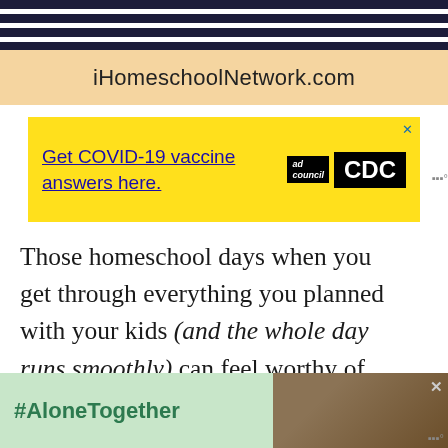[Figure (photo): iHomeschoolNetwork.com header banner with striped clothing detail at top and peach/tan background]
[Figure (screenshot): Yellow advertisement banner: 'Get COVID-19 vaccine answers here.' with Ad Council and CDC logos, close button]
Those homeschool days when you get through everything you planned with your kids (and the whole day runs smoothly) can feel worthy of celebration at times. When days like that are few and far between, it can be discouraging. Feelings of frustration and discouragement come flooding in as you wonder what you are doing wrong. There is so much to g done in a typical homeschool day, from the lessons to the
[Figure (screenshot): Bottom advertisement with green background showing #AloneTogether hashtag and photo of father and daughter]